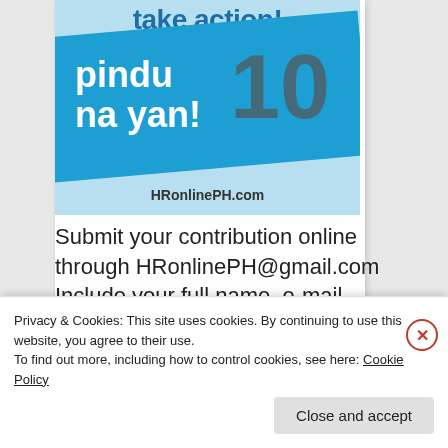[Figure (illustration): A promotional graphic on a light blue background. At top, bold blue text reads 'take action!'. A dark blue diagonal banner shows white bold text 'pindu na yan!' with a large gray '10' overlaid. At bottom, bold text reads 'HRonlinePH.com'.]
Submit your contribution online through HRonlinePH@gmail.com Include your full name, e-mail address and
Privacy & Cookies: This site uses cookies. By continuing to use this website, you agree to their use.
To find out more, including how to control cookies, see here: Cookie Policy
Close and accept